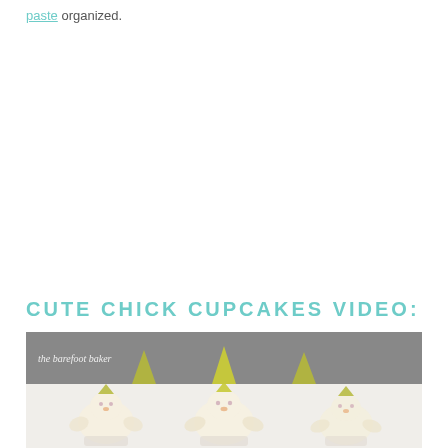paste organized.
CUTE CHICK CUPCAKES VIDEO:
[Figure (photo): Video thumbnail showing cute chick cupcakes with yellow frosting birds on top against a gray and light background, with a watermark reading 'the barefoot baker']